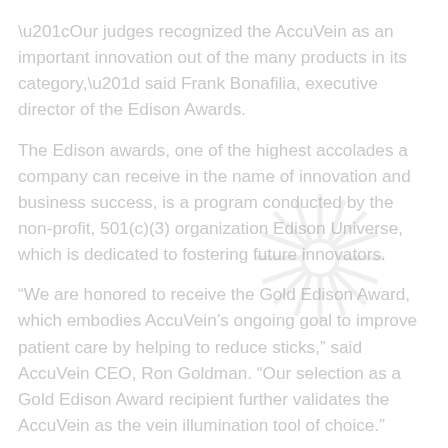“Our judges recognized the AccuVein as an important innovation out of the many products in its category,” said Frank Bonafilia, executive director of the Edison Awards.
The Edison awards, one of the highest accolades a company can receive in the name of innovation and business success, is a program conducted by the non-profit, 501(c)(3) organization Edison Universe, which is dedicated to fostering future innovators.
“We are honored to receive the Gold Edison Award, which embodies AccuVein’s ongoing goal to improve patient care by helping to reduce sticks,” said AccuVein CEO, Ron Goldman. “Our selection as a Gold Edison Award recipient further validates the AccuVein as the vein illumination tool of choice.”
Locating peripheral vasculature is invaluable in many medical